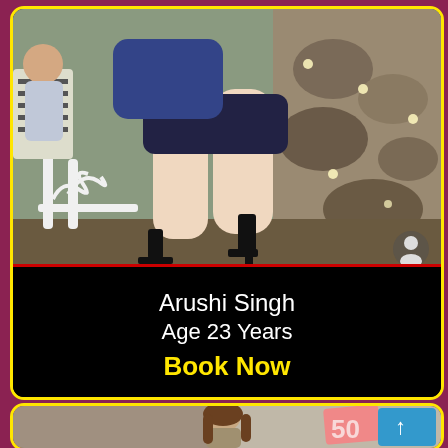[Figure (photo): Photo of woman sitting outdoors near ornate white metal furniture, wearing dark blue/black outfit, with legs extended, black high heels, and a rocky wall with lights in background]
Arushi Singh
Age 23 Years
Book Now
[Figure (photo): Photo of young woman with long brown hair, standing indoors, with a pink '50' badge/sign and a blue back-to-top arrow button overlay]